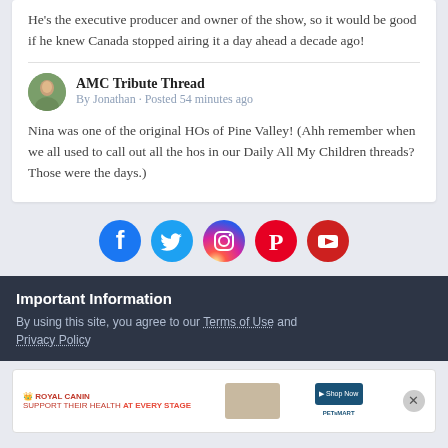He's the executive producer and owner of the show, so it would be good if he knew Canada stopped airing it a day ahead a decade ago!
AMC Tribute Thread
By Jonathan · Posted 54 minutes ago
Nina was one of the original HOs of Pine Valley! (Ahh remember when we all used to call out all the hos in our Daily All My Children threads? Those were the days.)
[Figure (infographic): Social media icons: Facebook (dark blue), Twitter (light blue), Instagram (pink gradient), Pinterest (red), YouTube (red)]
Important Information
By using this site, you agree to our Terms of Use and Privacy Policy
[Figure (photo): Royal Canin advertisement banner: logo on left, dog food bags in center, PetSmart store button on right, tagline SUPPORT THEIR HEALTH AT EVERY STAGE]